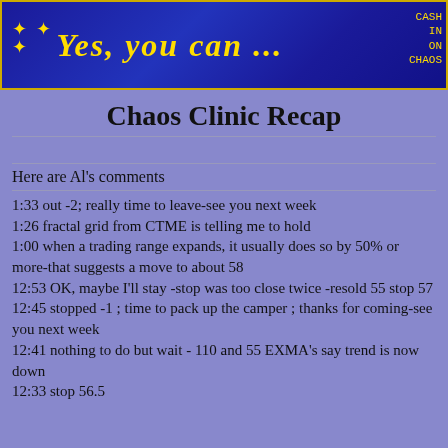[Figure (illustration): Blue banner with gold border, decorative stars, italic yellow text 'Yes, you can...' and pixelated logo on right side]
Chaos Clinic Recap
Here are Al's comments
1:33 out -2; really time to leave-see you next week
1:26 fractal grid from CTME is telling me to hold
1:00 when a trading range expands, it usually does so by 50% or more-that suggests a move to about 58
12:53 OK, maybe I'll stay -stop was too close twice -resold 55 stop 57
12:45 stopped -1 ; time to pack up the camper ; thanks for coming-see you next week
12:41 nothing to do but wait - 110 and 55 EXMA's say trend is now down
12:33 stop 56.5